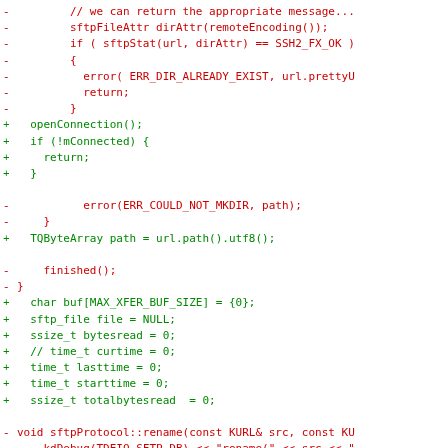[Figure (screenshot): Code diff showing removed (red, prefixed with -) and added (green, prefixed with +) lines of C++ source code for an SFTP protocol implementation.]